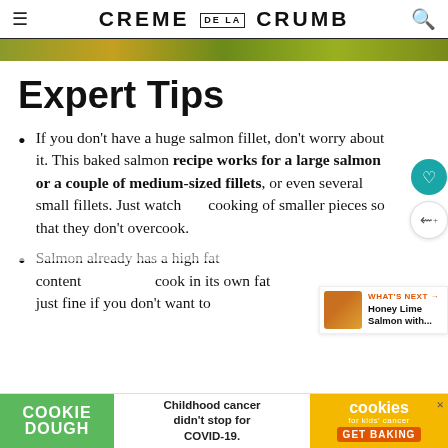CREME DE LA CRUMB
[Figure (photo): Partial food photograph strip at top of content area]
Expert Tips
If you don't have a huge salmon fillet, don't worry about it. This baked salmon recipe works for a large salmon or a couple of medium-sized fillets, or even several small fillets. Just watch cooking of smaller pieces so that they don't overcook.
Salmon already has a high fat content cook in its own fat just fine if you don't want to